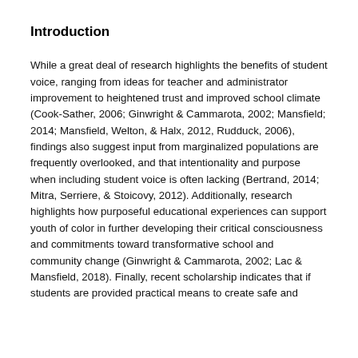Introduction
While a great deal of research highlights the benefits of student voice, ranging from ideas for teacher and administrator improvement to heightened trust and improved school climate (Cook-Sather, 2006; Ginwright & Cammarota, 2002; Mansfield; 2014; Mansfield, Welton, & Halx, 2012, Rudduck, 2006), findings also suggest input from marginalized populations are frequently overlooked, and that intentionality and purpose when including student voice is often lacking (Bertrand, 2014; Mitra, Serriere, & Stoicovy, 2012). Additionally, research highlights how purposeful educational experiences can support youth of color in further developing their critical consciousness and commitments toward transformative school and community change (Ginwright & Cammarota, 2002; Lac & Mansfield, 2018). Finally, recent scholarship indicates that if students are provided practical means to create safe and